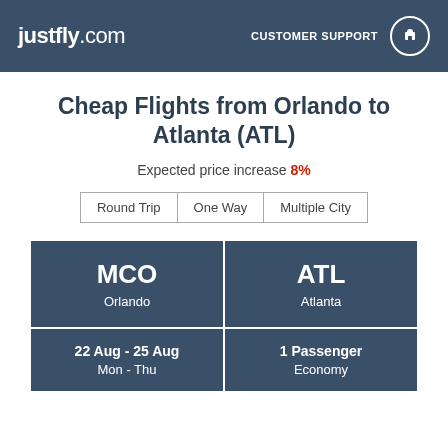justfly.com | CUSTOMER SUPPORT
Cheap Flights from Orlando to Atlanta (ATL)
Expected price increase 8%
Round Trip
One Way
Multiple City
| MCO Orlando | ATL Atlanta |
| --- | --- |
| 22 Aug - 25 Aug / Mon - Thu | 1 Passenger / Economy |